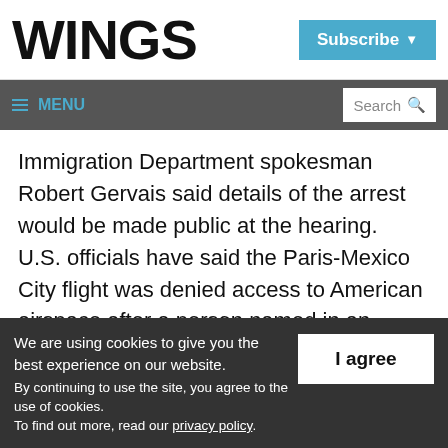WINGS
Subscribe
≡ MENU   Search
Immigration Department spokesman Robert Gervais said details of the arrest would be made public at the hearing.
U.S. officials have said the Paris-Mexico City flight was denied access to American airspace after a person named in an outstanding
We are using cookies to give you the best experience on our website.
By continuing to use the site, you agree to the use of cookies.
To find out more, read our privacy policy.
I agree